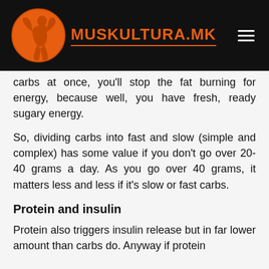MUSKULTURA.MK
carbs at once, you'll stop the fat burning for energy, because well, you have fresh, ready sugary energy.
So, dividing carbs into fast and slow (simple and complex) has some value if you don't go over 20-40 grams a day. As you go over 40 grams, it matters less and less if it's slow or fast carbs.
Protein and insulin
Protein also triggers insulin release but in far lower amount than carbs do. Anyway if protein